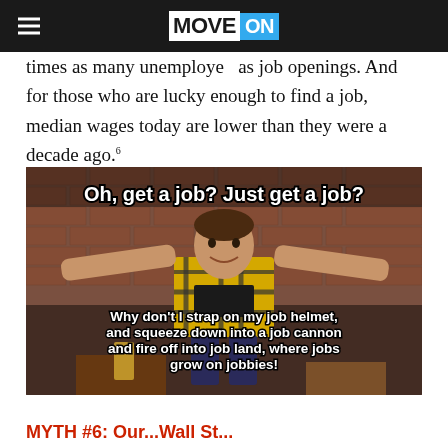MoveOn
times as many unemployed as job openings. And for those who are lucky enough to find a job, median wages today are lower than they were a decade ago.⁶
[Figure (photo): Meme image of a man in a yellow plaid flannel shirt with arms spread wide, standing in a bar with brick walls. Top text: 'Oh, get a job? Just get a job?' Bottom text: 'Why don't I strap on my job helmet, and squeeze down into a job cannon and fire off into job land, where jobs grow on jobbies!']
MYTH #6: Our...Wall St... (partial, cut off)